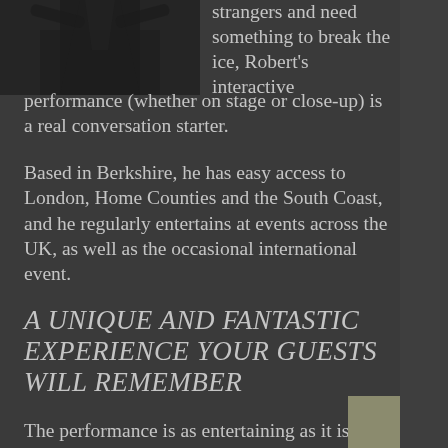[Figure (photo): Black and white photo of a performer, partially visible in top-left corner]
strangers and need something to break the ice, Robert's interactive performance (whether on stage or close-up) is a real conversation starter.
Based in Berkshire, he has easy access to London, Home Counties and the South Coast, and he regularly entertains at events across the UK, as well as the occasional international event.
A Unique and Fantastic Experience Your Guests Will Remember
The performance is as entertaining as it is baffling and creates a fantastic experience for your guests. The style is full of comedy and hands on interaction, as well as creating a memory your guests will